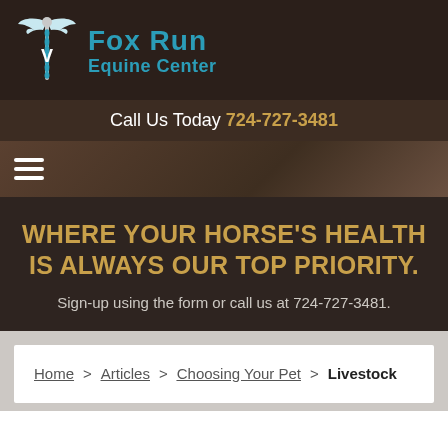[Figure (logo): Fox Run Equine Center logo: caduceus-style veterinary symbol in white/teal with wings on dark brown background, next to teal text 'Fox Run Equine Center']
Call Us Today 724-727-3481
WHERE YOUR HORSE'S HEALTH IS ALWAYS OUR TOP PRIORITY.
Sign-up using the form or call us at 724-727-3481.
Home > Articles > Choosing Your Pet > Livestock